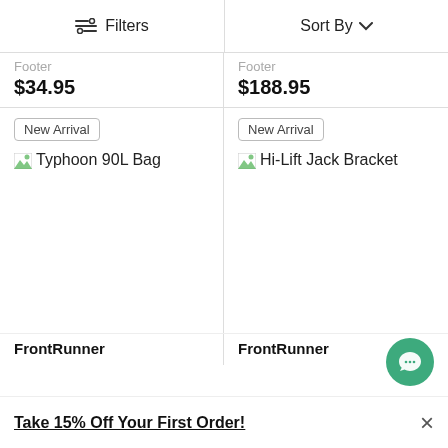Filters   Sort By
Footer
$34.95
Footer
$188.95
New Arrival
[Figure (photo): Broken image icon for Typhoon 90L Bag product]
New Arrival
[Figure (photo): Broken image icon for Hi-Lift Jack Bracket product]
FrontRunner
FrontRunner
Take 15% Off Your First Order!